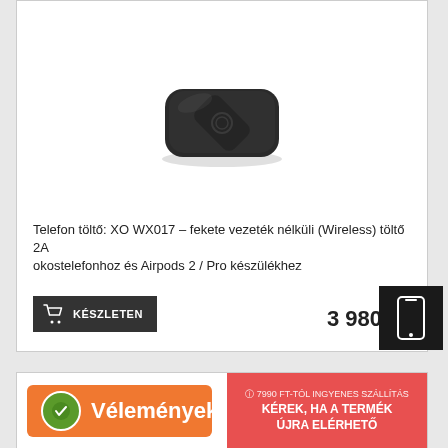[Figure (photo): Black square wireless charging pad (XO WX017) product photo on white background]
Telefon töltő: XO WX017 – fekete vezeték nélküli (Wireless) töltő 2A okostelefonhoz és Airpods 2 / Pro készülékhez
KÉSZLETEN
3 980 Ft
7990 FT-TÓL INGYENES SZÁLLÍTÁS KÉREK, HA A TERMÉK ÚJRA ELÉRHETŐ
Vélemények